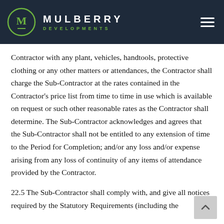MULBERRY DEVELOPMENTS
Contractor with any plant, vehicles, handtools, protective clothing or any other matters or attendances, the Contractor shall charge the Sub-Contractor at the rates contained in the Contractor's price list from time to time in use which is available on request or such other reasonable rates as the Contractor shall determine. The Sub-Contractor acknowledges and agrees that the Sub-Contractor shall not be entitled to any extension of time to the Period for Completion; and/or any loss and/or expense arising from any loss of continuity of any items of attendance provided by the Contractor.
22.5 The Sub-Contractor shall comply with, and give all notices required by the Statutory Requirements (including the